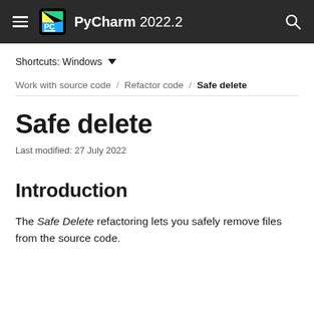PyCharm 2022.2
Shortcuts: Windows
Work with source code / Refactor code / Safe delete
Safe delete
Last modified: 27 July 2022
Introduction
The Safe Delete refactoring lets you safely remove files from the source code.